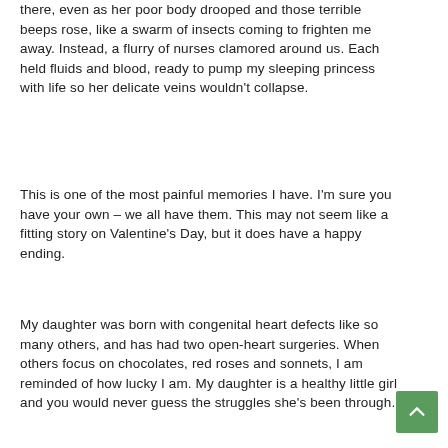there, even as her poor body drooped and those terrible beeps rose, like a swarm of insects coming to frighten me away. Instead, a flurry of nurses clamored around us. Each held fluids and blood, ready to pump my sleeping princess with life so her delicate veins wouldn't collapse.
This is one of the most painful memories I have. I'm sure you have your own – we all have them. This may not seem like a fitting story on Valentine's Day, but it does have a happy ending.
My daughter was born with congenital heart defects like so many others, and has had two open-heart surgeries. When others focus on chocolates, red roses and sonnets, I am reminded of how lucky I am. My daughter is a healthy little girl and you would never guess the struggles she's been through.